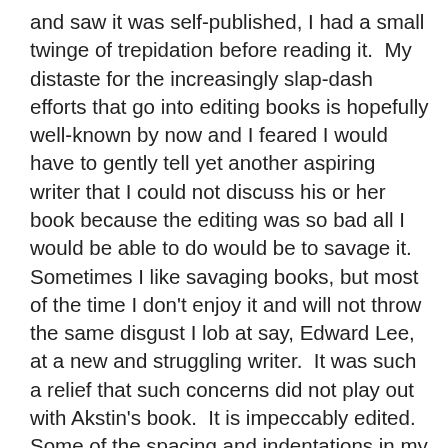and saw it was self-published, I had a small twinge of trepidation before reading it.  My distaste for the increasingly slap-dash efforts that go into editing books is hopefully well-known by now and I feared I would have to gently tell yet another aspiring writer that I could not discuss his or her book because the editing was so bad all I would be able to do would be to savage it.  Sometimes I like savaging books, but most of the time I don't enjoy it and will not throw the same disgust I lob at say, Edward Lee, at a new and struggling writer.  It was such a relief that such concerns did not play out with Akstin's book.  It is impeccably edited.  Some of the spacing and indentations in my copy are a bit off but when the grammar is spot on, I can overlook wonky paragraph alignment.